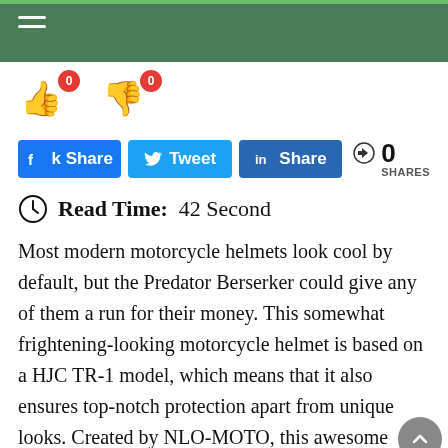Navigation header bar with hamburger menu
[Figure (infographic): Thumbs up and thumbs down vote buttons with red badge counters showing 0 each]
[Figure (infographic): Social share buttons: Facebook, Twitter, LinkedIn, and share count showing 0 SHARES]
Read Time: 42 Second
Most modern motorcycle helmets look cool by default, but the Predator Berserker could give any of them a run for their money. This somewhat frightening-looking motorcycle helmet is based on a HJC TR-1 model, which means that it also ensures top-notch protection apart from unique looks. Created by NLO-MOTO, this awesome